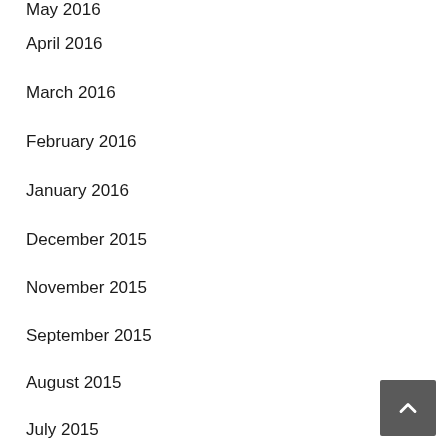May 2016
April 2016
March 2016
February 2016
January 2016
December 2015
November 2015
September 2015
August 2015
July 2015
June 2015
April 2015